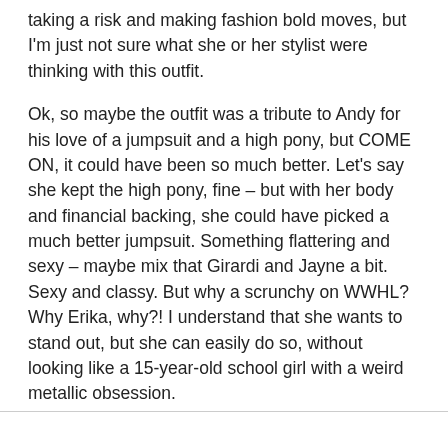taking a risk and making fashion bold moves, but I'm just not sure what she or her stylist were thinking with this outfit.
Ok, so maybe the outfit was a tribute to Andy for his love of a jumpsuit and a high pony, but COME ON, it could have been so much better. Let's say she kept the high pony, fine – but with her body and financial backing, she could have picked a much better jumpsuit. Something flattering and sexy – maybe mix that Girardi and Jayne a bit. Sexy and classy. But why a scrunchy on WWHL? Why Erika, why?! I understand that she wants to stand out, but she can easily do so, without looking like a 15-year-old school girl with a weird metallic obsession.